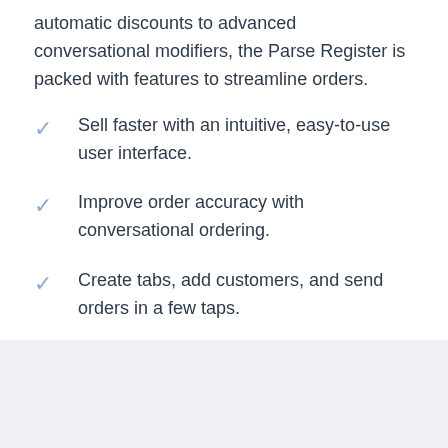automatic discounts to advanced conversational modifiers, the Parse Register is packed with features to streamline orders.
Sell faster with an intuitive, easy-to-use user interface.
Improve order accuracy with conversational ordering.
Create tabs, add customers, and send orders in a few taps.